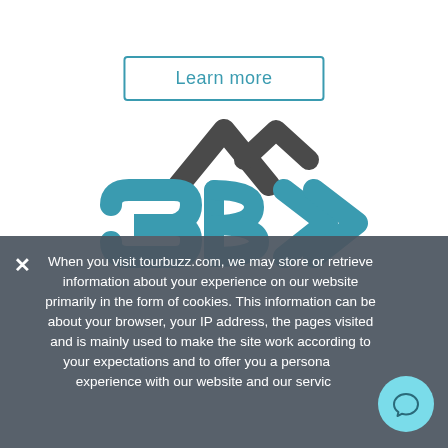[Figure (logo): Learn more button with teal border and teal text]
[Figure (logo): 3BX logo with dark gray house roof icon above teal stylized 3BX letters]
When you visit tourbuzz.com, we may store or retrieve information about your experience on our website primarily in the form of cookies. This information can be about your browser, your IP address, the pages visited and is mainly used to make the site work according to your expectations and to offer you a personalized experience with our website and our service